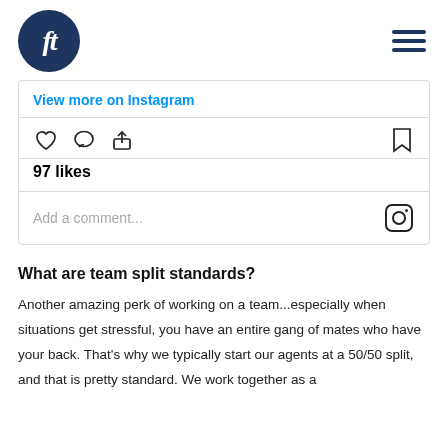[Figure (logo): ft logo in dark navy circle with italic ft text]
[Figure (screenshot): Instagram embed widget showing 'View more on Instagram' link, like/comment/share icons, 97 likes, and Add a comment field with Instagram icon]
What are team split standards?
Another amazing perk of working on a team...especially when situations get stressful, you have an entire gang of mates who have your back. That's why we typically start our agents at a 50/50 split, and that is pretty standard. We work together as a